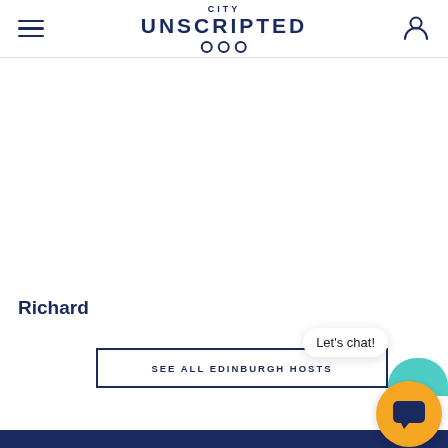City Unscripted
Richard
SEE ALL EDINBURGH HOSTS
Let's chat!